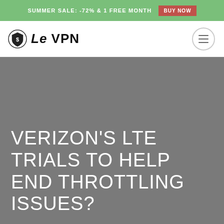SUMMER SALE: -72% & 1 FREE MONTH  BUY NOW
[Figure (logo): Le VPN logo with shield icon and hamburger menu button]
VERIZON'S LTE TRIALS TO HELP END THROTTLING ISSUES?